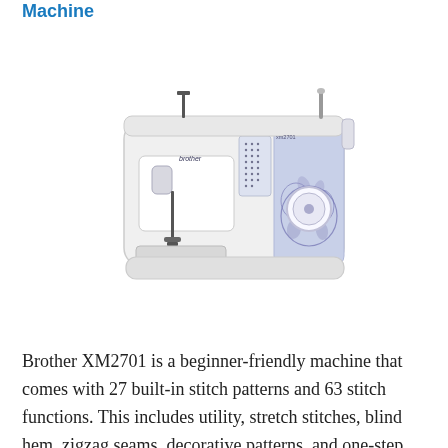Machine
[Figure (photo): Brother XM2701 sewing machine — white body with blue/purple floral decorative panel on the right side, stitch selector grid, large white dial, needle and presser foot assembly on the left]
Brother XM2701 is a beginner-friendly machine that comes with 27 built-in stitch patterns and 63 stitch functions. This includes utility, stretch stitches, blind hem, zigzag seams, decorative patterns, and one-step